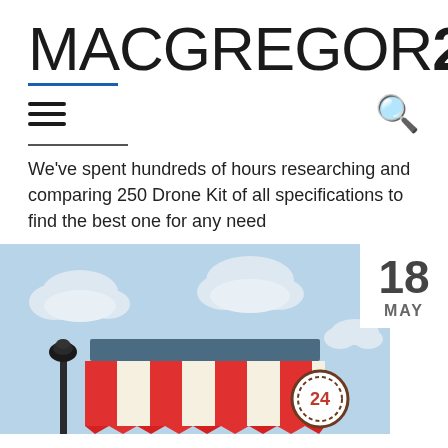MACGREGOR26
We've spent hundreds of hours researching and comparing 250 Drone Kit of all specifications to find the best one for any need
[Figure (illustration): Illustration of a retail store front with red and white striped awning, clouds in a light blue sky, a street lamp on the left, and a circular badge with '24' on the right side of the awning.]
18 MAY